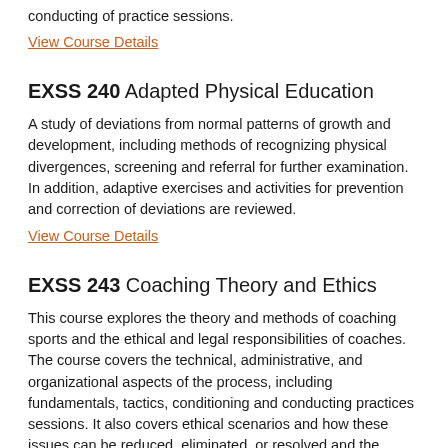conducting of practice sessions.
View Course Details
EXSS 240 Adapted Physical Education
A study of deviations from normal patterns of growth and development, including methods of recognizing physical divergences, screening and referral for further examination. In addition, adaptive exercises and activities for prevention and correction of deviations are reviewed.
View Course Details
EXSS 243 Coaching Theory and Ethics
This course explores the theory and methods of coaching sports and the ethical and legal responsibilities of coaches. The course covers the technical, administrative, and organizational aspects of the process, including fundamentals, tactics, conditioning and conducting practices sessions. It also covers ethical scenarios and how these issues can be reduced, eliminated, or resolved and the importance of educating coaches, student-athletes, and other stakeholders regarding appropriate ethics. This course meets the coaching and ethics